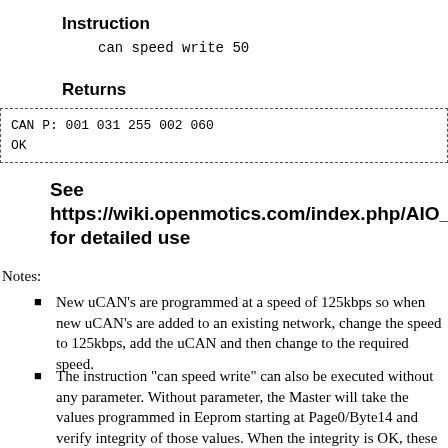Instruction
can speed write 50
Returns
CAN P: 001 031 255 002 060
OK
See https://wiki.openmotics.com/index.php/AIO_Tips_%26_tric for detailed use
Notes:
New uCAN's are programmed at a speed of 125kbps so when new uCAN's are added to an existing network, change the speed to 125kbps, add the uCAN and then change to the required speed.
The instruction "can speed write" can also be executed without any parameter. Without parameter, the Master will take the values programmed in Eeprom starting at Page0/Byte14 and verify integrity of those values. When the integrity is OK, these values will be distributed towards the uCAN and programmed in the Master to be used after the next reset. This allows